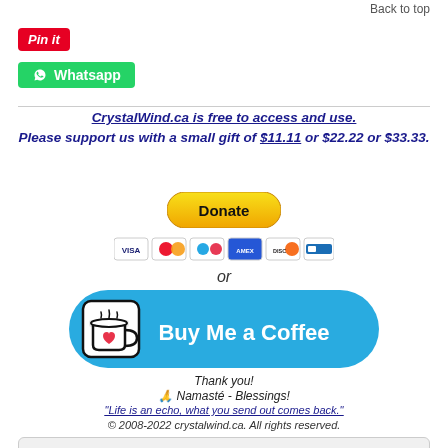Back to top
[Figure (logo): Pinterest Pin it button (red)]
[Figure (logo): WhatsApp share button (green)]
CrystalWind.ca is free to access and use. Please support us with a small gift of $11.11 or $22.22 or $33.33.
[Figure (other): PayPal Donate button (gold/yellow)]
[Figure (other): Payment card logos: VISA, Mastercard, Maestro, Amex, Discover, etc.]
or
[Figure (other): Buy Me a Coffee button (blue with cup icon)]
Thank you!
🙏 Namasté - Blessings!
"Life is an echo, what you send out comes back."
© 2008-2022 crystalwind.ca. All rights reserved.
Who is Online Now